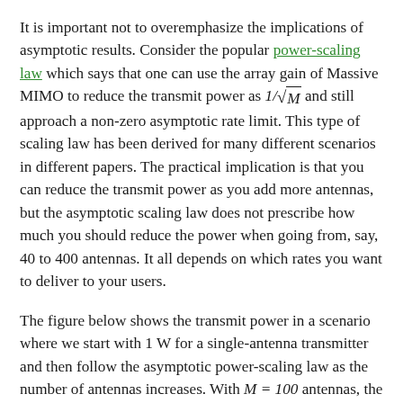It is important not to overemphasize the implications of asymptotic results. Consider the popular power-scaling law which says that one can use the array gain of Massive MIMO to reduce the transmit power as 1/√M and still approach a non-zero asymptotic rate limit. This type of scaling law has been derived for many different scenarios in different papers. The practical implication is that you can reduce the transmit power as you add more antennas, but the asymptotic scaling law does not prescribe how much you should reduce the power when going from, say, 40 to 400 antennas. It all depends on which rates you want to deliver to your users.
The figure below shows the transmit power in a scenario where we start with 1 W for a single-antenna transmitter and then follow the asymptotic power-scaling law as the number of antennas increases. With M = 100 antennas, the transmit power per antenna is just 1 mW, which is unnecessarily low given the fact that the circuits in the corresponding transceiver chain will consume much more